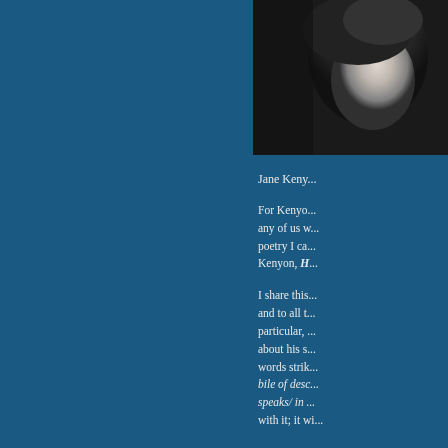[Figure (photo): Black and white close-up portrait photo of a person, cropped at the right side of the page]
Jane Keny...
For Kenyo... any of us w... poetry I ca... Kenyon, H...
I share this... and to all t... particular,... about his s... words strik... bile of desc... speaks/ in ... with it; it wi...